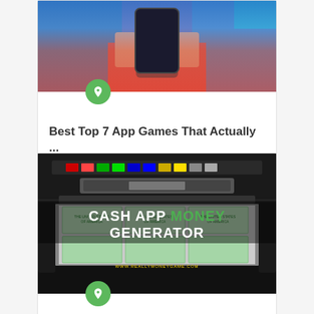[Figure (photo): Person in red jacket holding a smartphone, gaming setup in background]
Best Top 7 App Games That Actually ...
[Figure (photo): Cash App Money Generator promotional image showing a printer printing dollar bills, with text 'CASH APP MONEY GENERATOR' overlaid]
Cash App Money Generator: Does Cash App ...